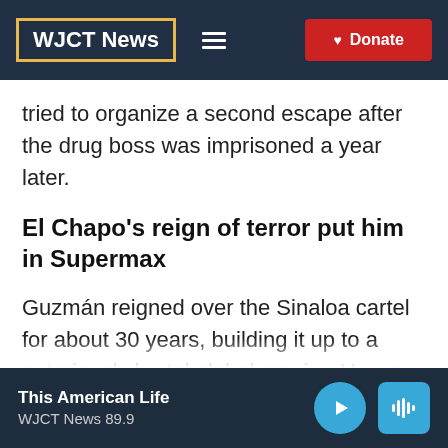WJCT News — Donate
tried to organize a second escape after the drug boss was imprisoned a year later.
El Chapo's reign of terror put him in Supermax
Guzmán reigned over the Sinaloa cartel for about 30 years, building it up to a notoriously brutal global empire. He was violent, conniving and immensely wealthy, which enabled him to elude Mexican authorities for
This American Life — WJCT News 89.9